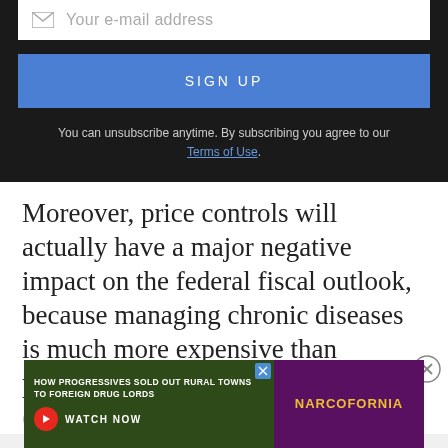[Figure (screenshot): Email subscription input field with envelope icon and placeholder text 'Your e-mail address' on white background]
[Figure (screenshot): Blue 'SIGN UP' button]
You can unsubscribe anytime. By subscribing you agree to our Terms of Use.
Moreover, price controls will actually have a major negative impact on the federal fiscal outlook, because managing chronic diseases is much more expensive than preventing and curing them.
[Figure (screenshot): Advertisement banner: 'HOW PROGRESSIVES SOLD OUT RURAL TOWNS TO FOREIGN DRUG LORDS' with WATCH NOW button and NARCOFORNIA branding]